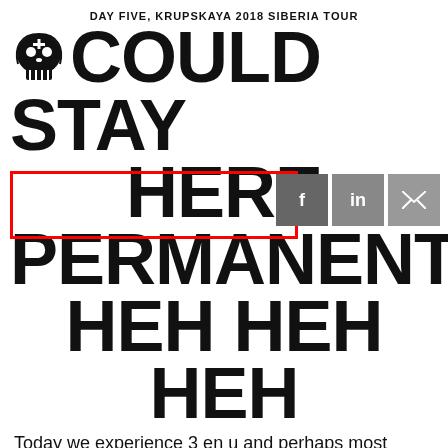DAY FIVE, KRUPSKAYA 2018 SIBERIA TOUR
I COULD STAY HERE PERMANENTLY, HEH HEH HEH
Today we experience 3 en u and perhaps most amazingly of all – Alex singing on Rock Band. Step aside, Glenn Danzig!
Story continues below...
Credits: Gazelle of Death (Tour organiser),
Topics: Krupskaya, Tour diary, Travel